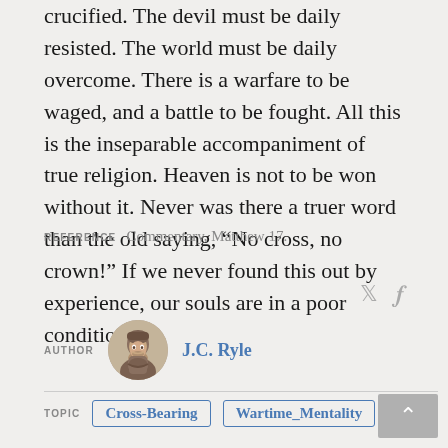crucified. The devil must be daily resisted. The world must be daily overcome. There is a warfare to be waged, and a battle to be fought. All this is the inseparable accompaniment of true religion. Heaven is not to be won without it. Never was there a truer word than the old saying, “No cross, no crown!” If we never found this out by experience, our souls are in a poor condition.
REFERENCE   Commentary, Matthew 17.
[Figure (photo): Circular portrait of J.C. Ryle, an elderly bearded man]
AUTHOR   J.C. Ryle
TOPIC   Cross-Bearing   Wartime_Mentality